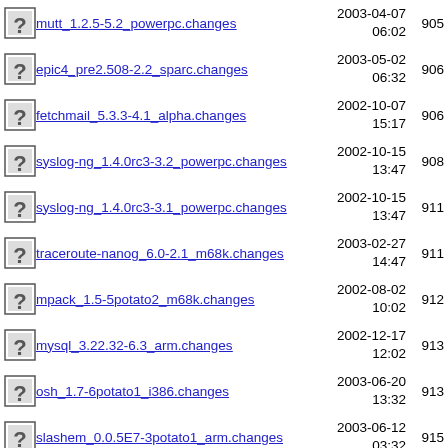mutt_1.2.5-5.2_powerpc.changes | 2003-04-07 06:02 | 905
epic4_pre2.508-2.2_sparc.changes | 2003-05-02 06:32 | 906
fetchmail_5.3.3-4.1_alpha.changes | 2002-10-07 15:17 | 906
syslog-ng_1.4.0rc3-3.2_powerpc.changes | 2002-10-15 13:47 | 908
syslog-ng_1.4.0rc3-3.1_powerpc.changes | 2002-10-15 13:47 | 911
traceroute-nanog_6.0-2.1_m68k.changes | 2003-02-27 14:47 | 911
mpack_1.5-5potato2_m68k.changes | 2002-08-02 10:02 | 912
mysql_3.22.32-6.3_arm.changes | 2002-12-17 12:02 | 913
osh_1.7-6potato1_i386.changes | 2003-06-20 13:32 | 913
slashem_0.0.5E7-3potato1_arm.changes | 2003-06-12 03:32 | 915
gnome-gv_0.82-2.1_i386.changes | 2002-10-18 14:17 | 916
traceroute-nanog_6.0- | 2003-02-27 | 917